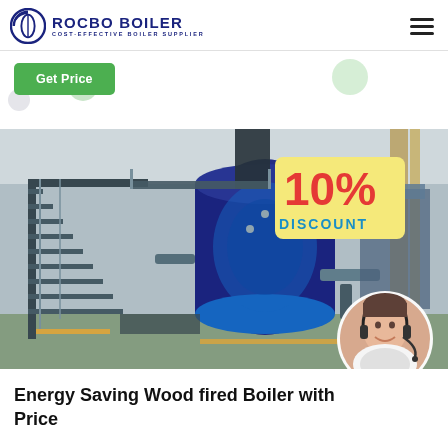ROCBO BOILER - COST-EFFECTIVE BOILER SUPPLIER
[Figure (logo): Rocbo Boiler logo with circular C icon and text 'ROCBO BOILER / COST-EFFECTIVE BOILER SUPPLIER']
Get Price
[Figure (photo): Large industrial boiler in a factory setting, blue metal boiler with staircases and pipes, showing a 10% Discount badge overlay and a customer service agent portrait in bottom right corner]
Energy Saving Wood fired Boiler with Price